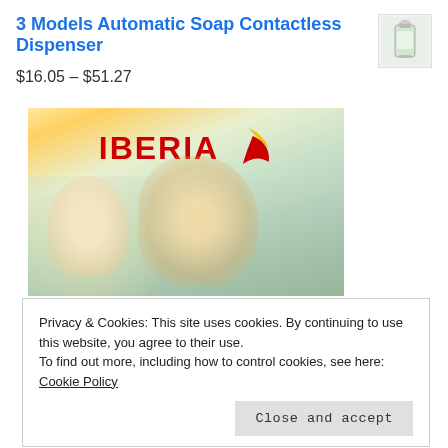3 Models Automatic Soap Contactless Dispenser
[Figure (photo): Small product image of soap dispenser]
$16.05 – $51.27
[Figure (photo): Iberia airline advertisement with two women smiling outdoors, bright sunlight. Iberia logo in red and yellow at the top.]
Privacy & Cookies: This site uses cookies. By continuing to use this website, you agree to their use.
To find out more, including how to control cookies, see here: Cookie Policy
Close and accept
SOCIAL DEVELOPMENT